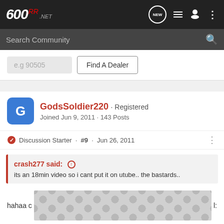RR600.NET navigation bar with search
e.g 90505  Find A Dealer
GodsSoldier220 · Registered
Joined Jun 9, 2011 · 143 Posts
Discussion Starter · #9 · Jun 26, 2011
crash277 said: ↑
its an 18min video so i cant put it on utube.. the bastards..
hahaa c [redacted image] l: